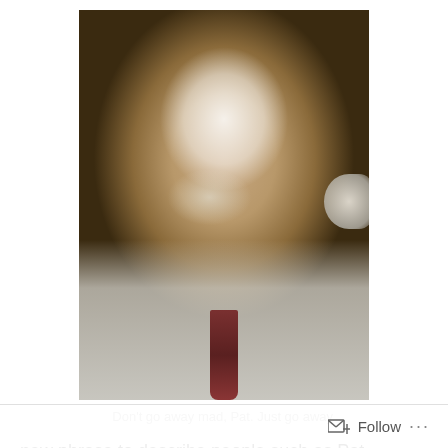[Figure (photo): A man with white cream/pie on his face and head, wearing a white shirt and dark red tie, against a dark background. A hand holding a cloth/tissue is visible on the right.]
Don't go away mad, Pat. Just go away.
new phrase to describe people such as Pat Buchanan and David Brooks at the New York Times.  It's bad enough that liberals dominate media outlets such as the NY Times and
Follow ...